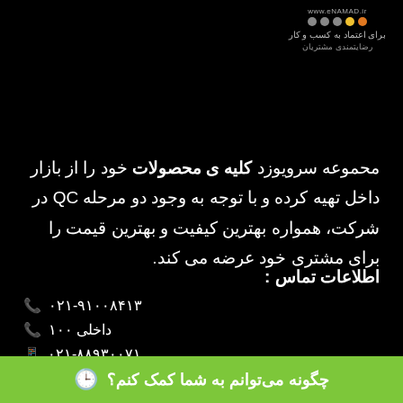[Figure (logo): eNAMAD logo with URL www.eNAMAD.ir, colored dots (orange, yellow, grey, grey, grey), and Persian text below]
محموعه سرویوزد کلیه ی محصولات خود را از بازار داخل تهیه کرده و با توجه به وجود دو مرحله QC در شرکت، همواره بهترین کیفیت و بهترین قیمت را برای مشتری خود عرضه می کند.
اطلاعات تماس :
☎ ۰۲۱-۹۱۰۰۸۴۱۳
☎ داخلی ۱۰۰
☐ ۰۲۱-۸۸۹۳۰۰۷۱
چگونه می‌توانم به شما کمک کنم؟